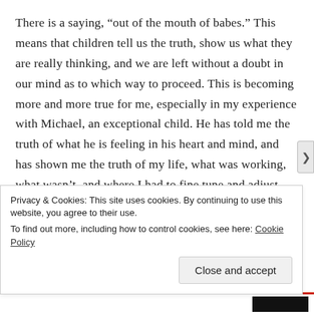There is a saying, “out of the mouth of babes.” This means that children tell us the truth, show us what they are really thinking, and we are left without a doubt in our mind as to which way to proceed. This is becoming more and more true for me, especially in my experience with Michael, an exceptional child. He has told me the truth of what he is feeling in his heart and mind, and has shown me the truth of my life, what was working, what wasn’t, and where I had to fine tune and adjust. He may not always use words, but by his actions, by his questions about life to me, he has forced me, and good on him for that, to question what I was holding dear before, and what was and
Privacy & Cookies: This site uses cookies. By continuing to use this website, you agree to their use. To find out more, including how to control cookies, see here: Cookie Policy
Close and accept